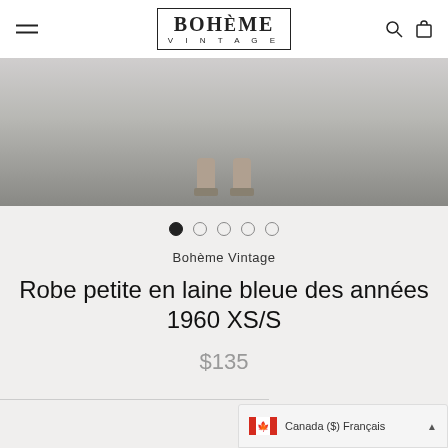BOHÈME VINTAGE
[Figure (photo): Top-down view of a person's feet wearing platform shoes, standing on a concrete surface]
Bohème Vintage
Robe petite en laine bleue des années 1960 XS/S
$135
Canada ($) Français